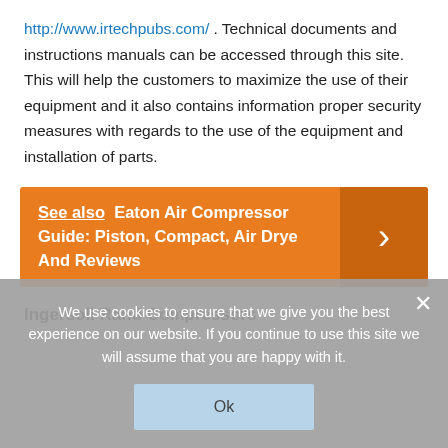http://www.irtechpubs.com/ . Technical documents and instructions manuals can be accessed through this site. This will help the customers to maximize the use of their equipment and it also contains information proper security measures with regards to the use of the equipment and installation of parts.
[Figure (infographic): Orange banner with 'See also Eaton Air Compressor Guide: Piston, Compact, Air Drye And Reviews' text and a right-arrow chevron on darker orange background on the right side.]
Ingersoll Rand Compressors
We use cookies to ensure that we give you the best experience on our website. If you continue to use this site we will assume that you are happy with it.